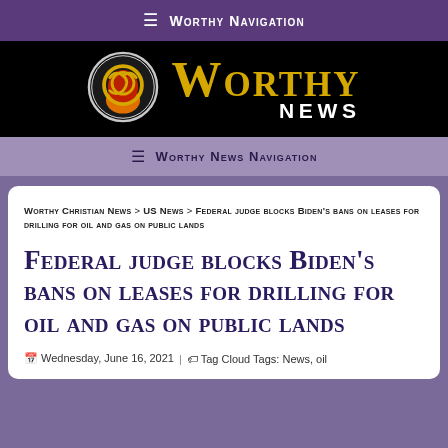≡ Worthy Navigation
[Figure (logo): Worthy News logo: lion head in circle with gold 'Worthy' text and white 'News' below on black background]
≡ Worthy News Navigation
Worthy Christian News > US News > Federal judge blocks Biden's bans on leases for drilling for oil and gas on public lands
Federal judge blocks Biden's bans on leases for drilling for oil and gas on public lands
Wednesday, June 16, 2021 | Tag Cloud Tags: News, oil